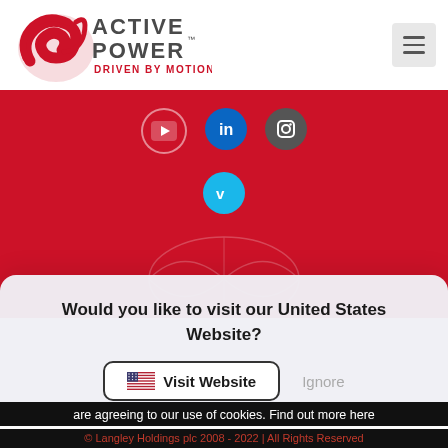[Figure (logo): Active Power logo with red swirl and tagline DRIVEN BY MOTION]
[Figure (screenshot): Red section with social media icons: YouTube, LinkedIn, Instagram, Vimeo]
Would you like to visit our United States Website?
[Figure (infographic): Visit Website button with US flag icon, and Ignore text button]
are agreeing to our use of cookies. Find out more here
© Langley Holdings plc 2008 - 2022 | All Rights Reserved